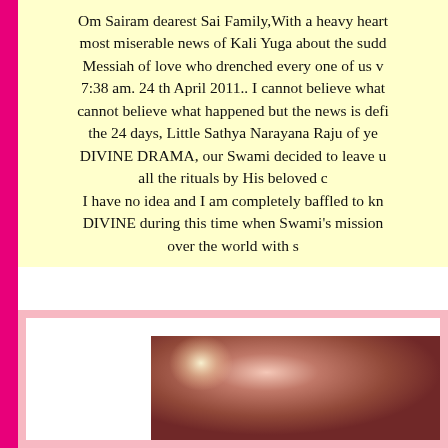Om Sairam dearest Sai Family,With a heavy heart most miserable news of Kali Yuga about the sudd Messiah of love who drenched every one of us v 7:38 am. 24 th April 2011.. I cannot believe what cannot believe what happened but the news is defi the 24 days, Little Sathya Narayana Raju of ye DIVINE DRAMA, our Swami decided to leave u all the rituals by His beloved c I have no idea and I am completely baffled to kn DIVINE during this time when Swami's mission over the world with s
[Figure (photo): A photo frame with pink/salmon border containing a pink and brown textured image, possibly a close-up photograph with a glowing light spot]